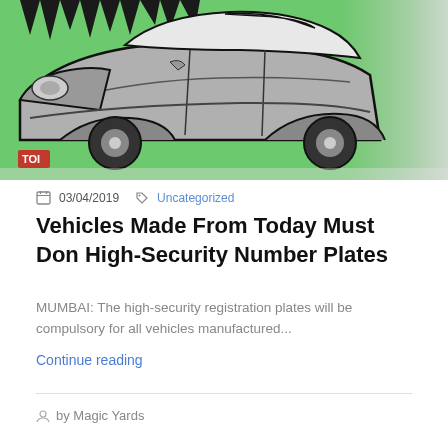[Figure (illustration): Illustrated image of a silver/grey car from the side, with a green background featuring black grass/spikes at the top. A small red 'TOI' logo is visible in the lower-left corner of the image.]
03/04/2019  Uncategorized
Vehicles Made From Today Must Don High-Security Number Plates
MUMBAI: The high-security registration plates will be compulsory for all vehicles manufactured...
Continue reading
by Magic Yards